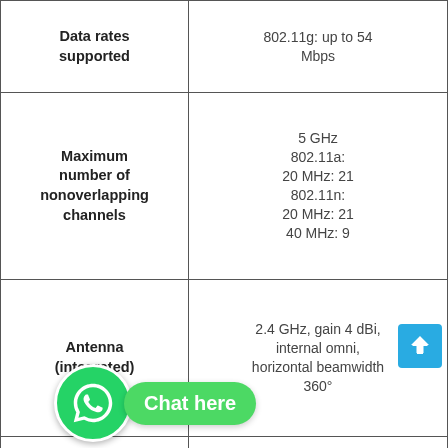| Feature | Specification |
| --- | --- |
| Data rates supported | 802.11g: up to 54 Mbps |
| Maximum number of nonoverlapping channels | 5 GHz
802.11a:
20 MHz: 21
802.11n:
20 MHz: 21
40 MHz: 9 |
| Antenna (integrated) | 2.4 GHz, gain 4 dBi, internal omni, horizontal beamwidth 360° |
| Interfaces | 10/100/1000BASE-T autosensing (RJ-45) |
| System memory | 256 MB DRAM |